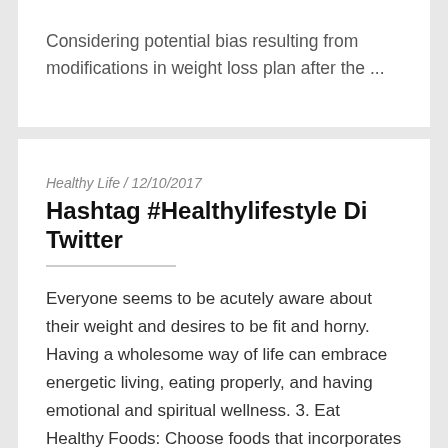Considering potential bias resulting from modifications in weight loss plan after the ...
Healthy Life / 12/10/2017
Hashtag #Healthylifestyle Di Twitter
Everyone seems to be acutely aware about their weight and desires to be fit and horny. Having a wholesome way of life can embrace energetic living, eating properly, and having emotional and spiritual wellness. 3. Eat Healthy Foods: Choose foods that incorporates minimal amounts of unhealthy fats, low sugar and natural substances. Based mostly on top and weight, people can test their body mass index (BMI) to see if they're overweight. Beneath are some methods you can begin dwelling a healthy lifestyle as we speak. These are present in meals